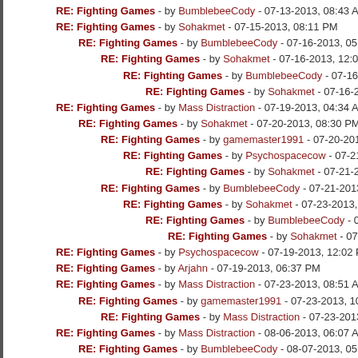RE: Fighting Games - by BumblebeeCody - 07-13-2013, 08:43 AM
RE: Fighting Games - by Sohakmet - 07-15-2013, 08:11 PM
RE: Fighting Games - by BumblebeeCody - 07-16-2013, 05:08 AM
RE: Fighting Games - by Sohakmet - 07-16-2013, 12:01 PM
RE: Fighting Games - by BumblebeeCody - 07-16-2013, 01:13 PM
RE: Fighting Games - by Sohakmet - 07-16-2013, 02:59 PM
RE: Fighting Games - by Mass Distraction - 07-19-2013, 04:34 AM
RE: Fighting Games - by Sohakmet - 07-20-2013, 08:30 PM
RE: Fighting Games - by gamemaster1991 - 07-20-2013, 09:53 PM
RE: Fighting Games - by Psychospacecow - 07-21-2013, 12:06 AM
RE: Fighting Games - by Sohakmet - 07-21-2013, 01:56 PM
RE: Fighting Games - by BumblebeeCody - 07-21-2013, 06:45 PM
RE: Fighting Games - by Sohakmet - 07-23-2013, 09:14 AM
RE: Fighting Games - by BumblebeeCody - 07-25-2013, 07:27 PM
RE: Fighting Games - by Sohakmet - 07-26-2013, 12:24 PM
RE: Fighting Games - by Psychospacecow - 07-19-2013, 12:02 PM
RE: Fighting Games - by Arjahn - 07-19-2013, 06:37 PM
RE: Fighting Games - by Mass Distraction - 07-23-2013, 08:51 AM
RE: Fighting Games - by gamemaster1991 - 07-23-2013, 10:47 AM
RE: Fighting Games - by Mass Distraction - 07-23-2013, 11:07 AM
RE: Fighting Games - by Mass Distraction - 08-06-2013, 06:07 AM
RE: Fighting Games - by BumblebeeCody - 08-07-2013, 05:25 PM
RE: Fighting Games - by Mass Distraction - 08-09-2013, 07:28 AM
RE: Fighting Games - by Mass Distraction - 09-24-2013, 06:10 AM
RE: Fighting Games - by Psychospacecow - 09-24-2013, 04:15 PM